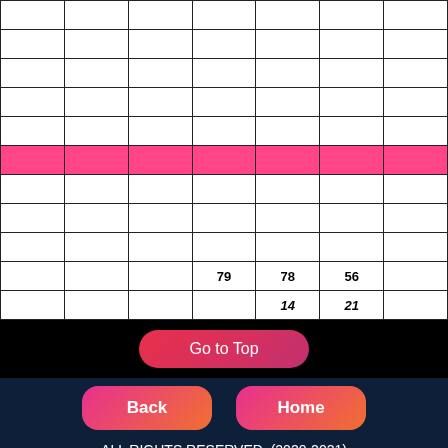|  |  |  |  |  |  |  |
|  |  |  |  |  |  |  |
|  |  |  |  |  |  |  |
|  |  |  |  |  |  |  |
|  |  |  |  |  |  |  |
|  |  |  |  |  |  |  |
|  |  |  |  |  |  |  |
|  |  |  |  |  |  |  |
|  |  |  |  |  |  |  |
|  |  |  | 79 | 78 | 56 |  |
|  |  |  |  | 14 | 21 |  |
Go to Top
Back
Home
ALL RIGHTS RESERVED. (2020-2021)